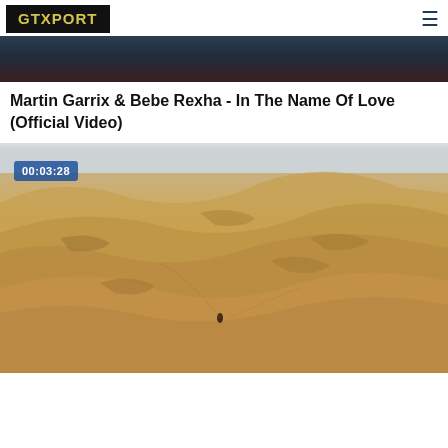GTXPORT
[Figure (screenshot): Top portion of a dark video thumbnail showing a dark teal/maroon gradient scene, partially cropped at top]
Martin Garrix & Bebe Rexha - In The Name Of Love (Official Video)
[Figure (photo): Desert sand dunes landscape under a light grey sky, with a tiny figure visible in the distance. A timestamp badge reading 00:03:28 is overlaid in the top-left corner.]